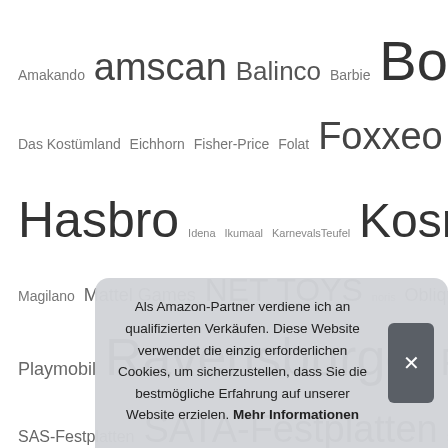[Figure (infographic): Word/tag cloud of toy and product brand names in German e-commerce context, displayed in varying font sizes indicating relative frequency or importance. Brands include Amakando, amscan, Balinco, Barbie, Boland, Clementoni, Das Kostümland, Eichhorn, Fisher-Price, Folat, Foxxeo, Fun Shack, HABA, Hasbro, Idena, Ikumaal, KarnevalsTeufel, Kosmos, LEGO, Magilano, Mattel Games, NET TOYS, noris, Oblique Unique, Playmobil, Ravensburger, Rubie's, SAS-Festplatten, SATA-Festplatten, SCHLEICH, Schmidt Spiele, Seawhisper, shoperama, Simba, Small Foot, Sn..., TK G..., WIG M...]
Als Amazon-Partner verdiene ich an qualifizierten Verkäufen. Diese Website verwendet die einzig erforderlichen Cookies, um sicherzustellen, dass Sie die bestmögliche Erfahrung auf unserer Website erzielen. Mehr Informationen